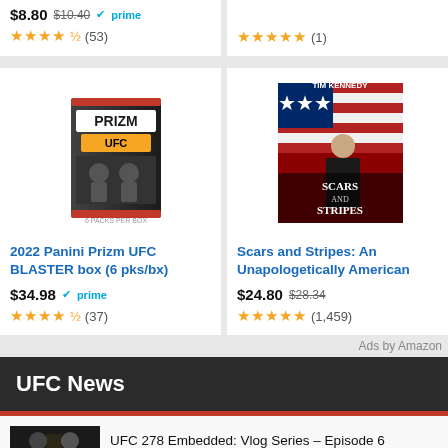$8.80 $10.40 prime ★★★★½ (53)
★★★★★ (1)
[Figure (photo): 2022 Panini Prizm UFC Blaster box product image]
2022 Panini Prizm UFC BLASTER box (6 pks/bx)
$34.98 prime ★★★★½ (37)
[Figure (photo): Scars and Stripes book cover by Tim Kennedy]
Scars and Stripes: An Unapologetically American
$24.80 $28.34 ★★★★★ (1,459)
Ads by Amazon
UFC News
[Figure (photo): UFC 278 Embedded Vlog Series Episode 6 thumbnail showing two fighters face to face]
UFC 278 Embedded: Vlog Series – Episode 6